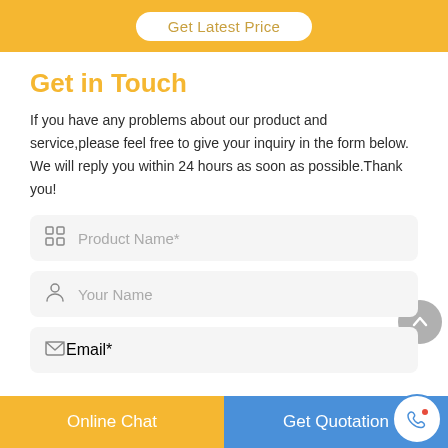[Figure (other): Yellow banner with 'Get Latest Price' button in white rounded rectangle]
Get in Touch
If you have any problems about our product and service,please feel free to give your inquiry in the form below. We will reply you within 24 hours as soon as possible.Thank you!
[Figure (screenshot): Form field with grid/QR icon and placeholder text 'Product Name*']
[Figure (screenshot): Form field with person icon and placeholder text 'Your Name']
[Figure (screenshot): Partially visible form field with envelope icon and placeholder text 'Email*']
Online Chat    Get Quotation